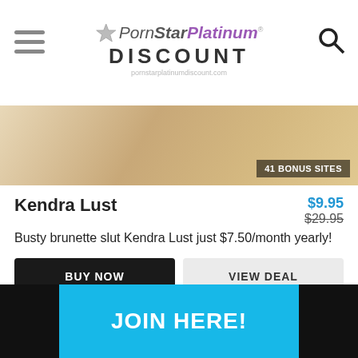PornStarPlatinum DISCOUNT pornstarplatinumdiscount.com
[Figure (photo): Partial photo of a person, cropped. Badge reads '41 BONUS SITES'.]
Kendra Lust
$9.95 $29.95
Busty brunette slut Kendra Lust just $7.50/month yearly!
BUY NOW
VIEW DEAL
[Figure (photo): Photo of a woman with glasses, close-up. Discount badge reads 'DISCOUNT 67%'.]
JOIN HERE!